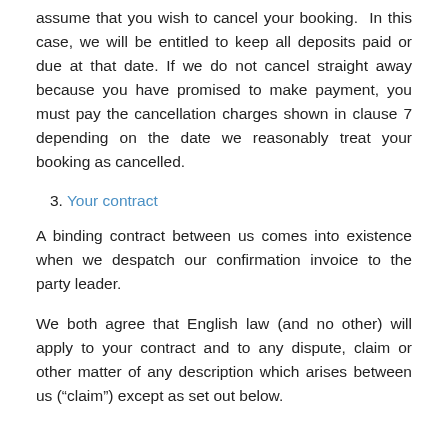assume that you wish to cancel your booking.  In this case, we will be entitled to keep all deposits paid or due at that date. If we do not cancel straight away because you have promised to make payment, you must pay the cancellation charges shown in clause 7 depending on the date we reasonably treat your booking as cancelled.
3. Your contract
A binding contract between us comes into existence when we despatch our confirmation invoice to the party leader.
We both agree that English law (and no other) will apply to your contract and to any dispute, claim or other matter of any description which arises between us (“claim”) except as set out below.